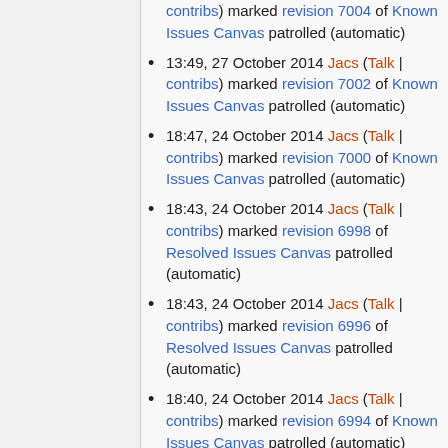contribs) marked revision 7004 of Known Issues Canvas patrolled (automatic)
13:49, 27 October 2014 Jacs (Talk | contribs) marked revision 7002 of Known Issues Canvas patrolled (automatic)
18:47, 24 October 2014 Jacs (Talk | contribs) marked revision 7000 of Known Issues Canvas patrolled (automatic)
18:43, 24 October 2014 Jacs (Talk | contribs) marked revision 6998 of Resolved Issues Canvas patrolled (automatic)
18:43, 24 October 2014 Jacs (Talk | contribs) marked revision 6996 of Resolved Issues Canvas patrolled (automatic)
18:40, 24 October 2014 Jacs (Talk | contribs) marked revision 6994 of Known Issues Canvas patrolled (automatic)
18:33, 24 October 2014 Jacs (Talk | contribs) marked revision 6992 of Known Issues Canvas patrolled (automatic)
18:32, 24 October 2014 Jacs (Talk |